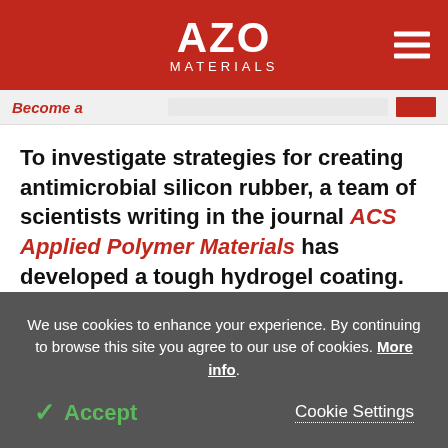AZO MATERIALS
Become a
To investigate strategies for creating antimicrobial silicon rubber, a team of scientists writing in the journal ACS Applied Polymer Materials has developed a tough hydrogel coating. The research has the potential for manufacturing safer materials for medical catheters.
We use cookies to enhance your experience. By continuing to browse this site you agree to our use of cookies. More info.
✓ Accept
Cookie Settings